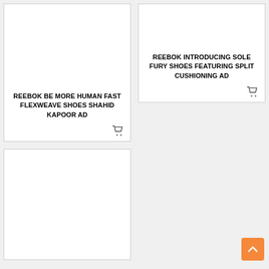[Figure (other): Product card: Reebok Be More Human Fast Flexweave Shoes Shahid Kapoor Ad with cart icon]
[Figure (other): Product card: Reebok Introducing Sole Fury Shoes Featuring Split Cushioning Ad with cart icon]
[Figure (other): Product card: bottom-left, partially visible, blank image area]